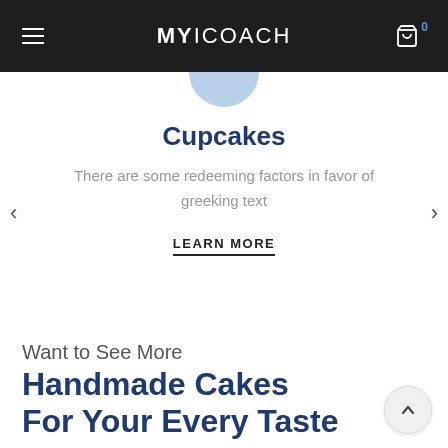MYICOACH
Cupcakes
There are some redeeming factors in favor of greeking text
LEARN MORE
Want to See More
Handmade Cakes For Your Every Taste